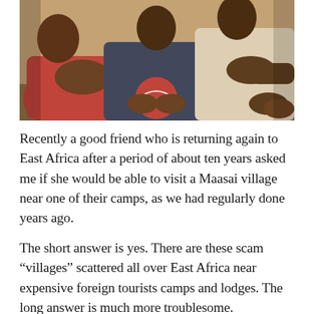[Figure (photo): A photograph of three people sitting together outdoors. One person on the left is wearing a red t-shirt, the middle person is wearing a dark blue/navy shirt and holding a ball, and the third person on the right is wearing a cream/white top. They appear to be sitting against a light brown wall or structure. The image is cropped so only the torsos and hands are fully visible.]
Recently a good friend who is returning again to East Africa after a period of about ten years asked me if she would be able to visit a Maasai village near one of their camps, as we had regularly done years ago.
The short answer is yes. There are these scam “villages” scattered all over East Africa near expensive foreign tourists camps and lodges. The long answer is much more troublesome.